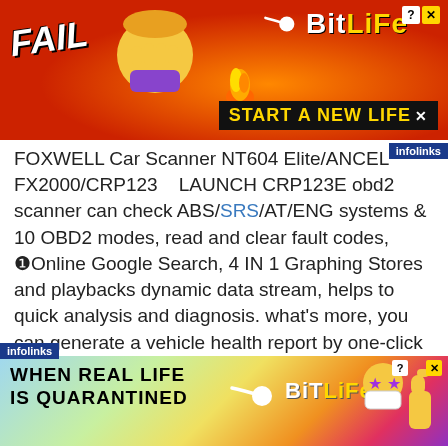[Figure (screenshot): BitLife mobile game advertisement banner at top. Red background with 'FAIL' text on left, cartoon character, fire emojis, BitLife sperm logo and text in yellow/white, 'START A NEW LIFE' button in black with yellow text. Infolinks badge in top right corner.]
FOXWELL Car Scanner NT604 Elite/ANCEL FX2000/CRP123    LAUNCH CRP123E obd2 scanner can check ABS/SRS/AT/ENG systems & 10 OBD2 modes, read and clear fault codes, ❶Online Google Search, 4 IN 1 Graphing Stores and playbacks dynamic data stream, helps to quick analysis and diagnosis. what's more, you can generate a vehicle health report by one-click and share to your email via Wifi which can help avoid blind maintenance, offer solution, save time and money.
[Figure (screenshot): BitLife mobile game advertisement banner at bottom. Rainbow gradient background with 'WHEN REAL LIFE IS QUARANTINED' text on left, BitLife sperm logo in center, emoji character with mask and star eyes on right. Close/question buttons in corner.]